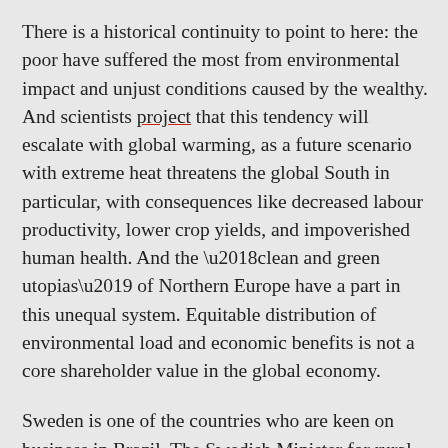There is a historical continuity to point to here: the poor have suffered the most from environmental impact and unjust conditions caused by the wealthy. And scientists project that this tendency will escalate with global warming, as a future scenario with extreme heat threatens the global South in particular, with consequences like decreased labour productivity, lower crop yields, and impoverished human health. And the ‘clean and green utopias’ of Northern Europe have a part in this unequal system. Equitable distribution of environmental load and economic benefits is not a core shareholder value in the global economy.
Sweden is one of the countries who are keen on business in Brazil. The Swedish Minister for rural affairs, Sven-Erik